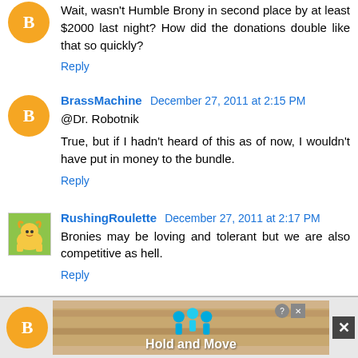Wait, wasn't Humble Brony in second place by at least $2000 last night? How did the donations double like that so quickly?
Reply
BrassMachine December 27, 2011 at 2:15 PM
@Dr. Robotnik

True, but if I hadn't heard of this as of now, I wouldn't have put in money to the bundle.
Reply
RushingRoulette December 27, 2011 at 2:17 PM
Bronies may be loving and tolerant but we are also competitive as hell.
Reply
[Figure (screenshot): Advertisement banner at the bottom showing a bowling-style game ad with text 'Hold and Move', a Blogger icon, and a close button.]